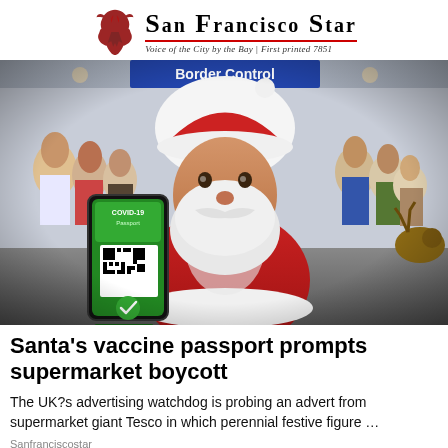San Francisco Star — Voice of the City by the Bay | First printed 7851
[Figure (photo): Santa Claus in full costume holding up a smartphone showing a COVID-19 Passport with a green vaccinated checkmark, standing at a Border Control checkpoint with a crowd of people behind him and a reindeer visible to the right.]
Santa's vaccine passport prompts supermarket boycott
The UK?s advertising watchdog is probing an advert from supermarket giant Tesco in which perennial festive figure …
Sanfranciscostar